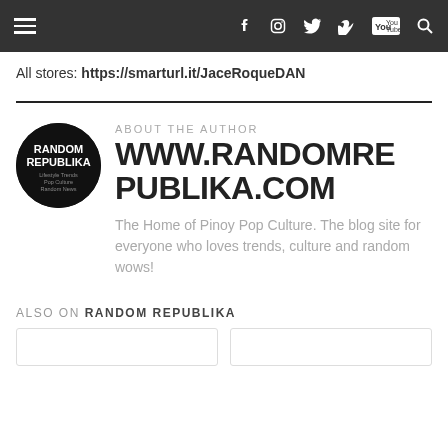Navigation bar with hamburger menu and social icons (Facebook, Instagram, Twitter, Vimeo, YouTube, Search)
All stores: https://smarturl.it/JaceRoqueDAN
ABOUT THE AUTHOR
[Figure (logo): Random Republika circular black logo with white text: RANDOM REPUBLIKA, Lifestyle Trends, Pop Culture, Random News]
WWW.RANDOMREPUBLIKA.COM
The Home of Pinoy Pop Culture. The blog site for everyone who loves trends, culture and random wows!
ALSO ON RANDOM REPUBLIKA